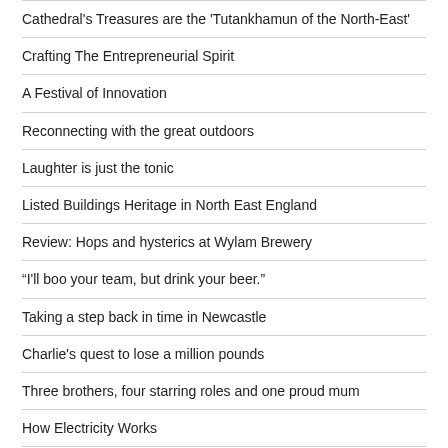Cathedral's Treasures are the 'Tutankhamun of the North-East'
Crafting The Entrepreneurial Spirit
A Festival of Innovation
Reconnecting with the great outdoors
Laughter is just the tonic
Listed Buildings Heritage in North East England
Review: Hops and hysterics at Wylam Brewery
“I'll boo your team, but drink your beer.”
Taking a step back in time in Newcastle
Charlie's quest to lose a million pounds
Three brothers, four starring roles and one proud mum
How Electricity Works